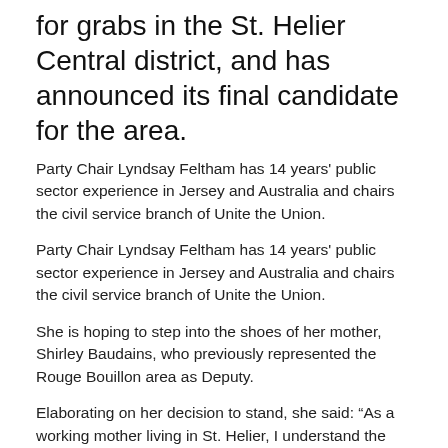for grabs in the St. Helier Central district, and has announced its final candidate for the area.
Party Chair Lyndsay Feltham has 14 years' public sector experience in Jersey and Australia and chairs the civil service branch of Unite the Union.
Party Chair Lyndsay Feltham has 14 years' public sector experience in Jersey and Australia and chairs the civil service branch of Unite the Union.
She is hoping to step into the shoes of her mother, Shirley Baudains, who previously represented the Rouge Bouillon area as Deputy.
Elaborating on her decision to stand, she said: “As a working mother living in St. Helier, I understand the day-to-day issues facing working families living in the area.
“St. Helier Central is the most densely populated district and houses a diverse community that needs access to schools and community facilities, as well as safe and well maintained public open spaces for those of us that do not have gardens, or only